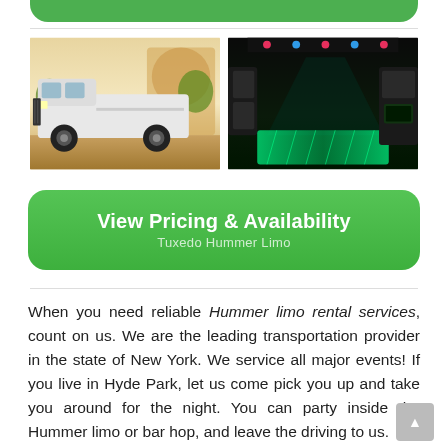[Figure (photo): Green button/banner at top of page (partially visible)]
[Figure (photo): Two side-by-side photos: left shows a white stretch Hummer limousine parked outside a building; right shows the neon-lit green interior of a party bus/limo]
[Figure (other): Green rounded button with text 'View Pricing & Availability' and subtitle 'Tuxedo Hummer Limo']
When you need reliable Hummer limo rental services, count on us. We are the leading transportation provider in the state of New York. We service all major events! If you live in Hyde Park, let us come pick you up and take you around for the night. You can party inside the Hummer limo or bar hop, and leave the driving to us.